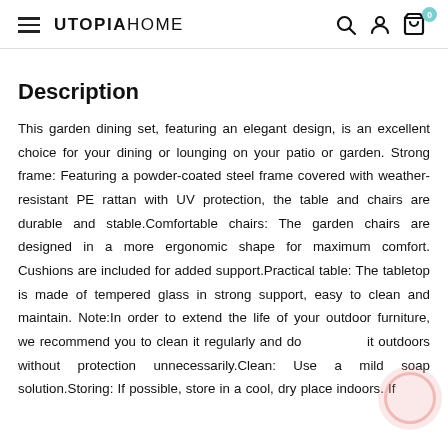UTOPIAHOME
Description
This garden dining set, featuring an elegant design, is an excellent choice for your dining or lounging on your patio or garden. Strong frame: Featuring a powder-coated steel frame covered with weather-resistant PE rattan with UV protection, the table and chairs are durable and stable.Comfortable chairs: The garden chairs are designed in a more ergonomic shape for maximum comfort. Cushions are included for added support.Practical table: The tabletop is made of tempered glass in strong support, easy to clean and maintain. Note:In order to extend the life of your outdoor furniture, we recommend you to clean it regularly and do not leave it outdoors without protection unnecessarily.Clean: Use a mild soap solution.Storing: If possible, store in a cool, dry place indoors. If